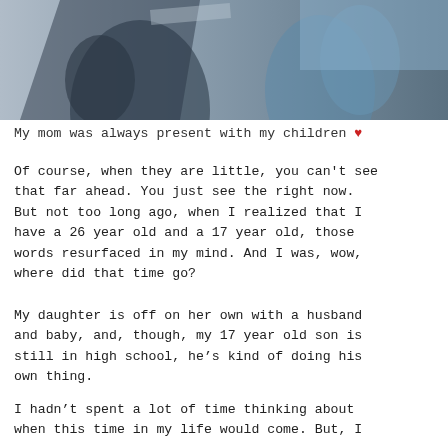[Figure (photo): A blurred/partial photo of two people, appears to be an adult and child, with blue and dark tones.]
My mom was always present with my children ♥
Of course, when they are little, you can't see that far ahead. You just see the right now. But not too long ago, when I realized that I have a 26 year old and a 17 year old, those words resurfaced in my mind. And I was, wow, where did that time go?
My daughter is off on her own with a husband and baby, and, though, my 17 year old son is still in high school, he's kind of doing his own thing.
I hadn't spent a lot of time thinking about when this time in my life would come. But, I